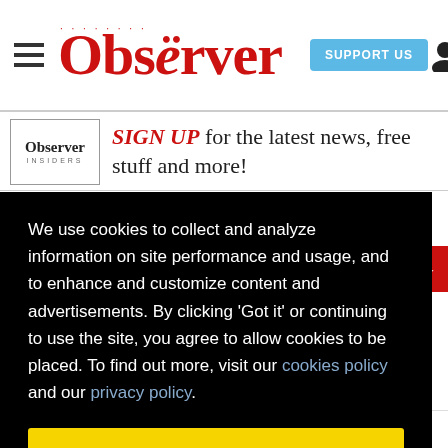Dallas Observer — SUPPORT US — [hamburger menu] [user icon]
Observer INSIDERS — SIGN UP for the latest news, free stuff and more!
We use cookies to collect and analyze information on site performance and usage, and to enhance and customize content and advertisements. By clicking 'Got it' or continuing to use the site, you agree to allow cookies to be placed. To find out more, visit our cookies policy and our privacy policy.
Got it!
EDITORIAL ›